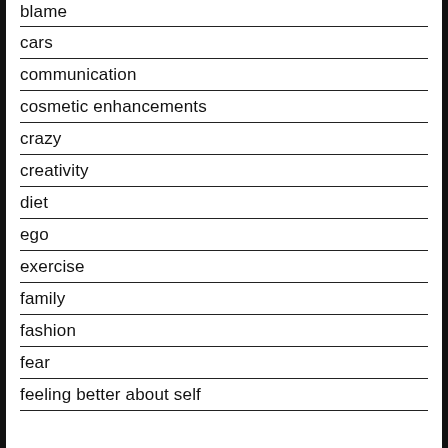blame
cars
communication
cosmetic enhancements
crazy
creativity
diet
ego
exercise
family
fashion
fear
feeling better about self